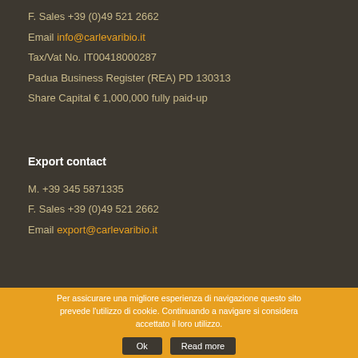F. Sales +39 (0)49 521 2662
Email info@carlevaribio.it
Tax/Vat No. IT00418000287
Padua Business Register (REA) PD 130313
Share Capital € 1,000,000 fully paid-up
Export contact
M. +39 345 5871335
F. Sales +39 (0)49 521 2662
Email export@carlevaribio.it
Per assicurare una migliore esperienza di navigazione questo sito prevede l'utilizzo di cookie. Continuando a navigare si considera accettato il loro utilizzo. Ok Read more